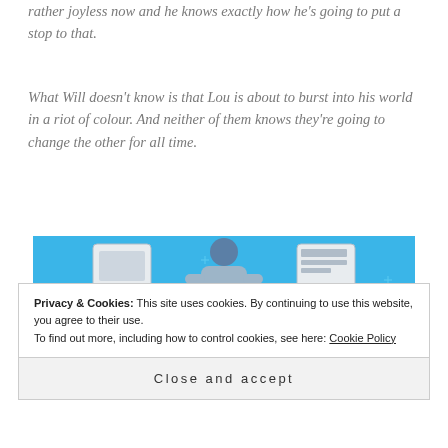rather joyless now and he knows exactly how he's going to put a stop to that.
What Will doesn't know is that Lou is about to burst into his world in a riot of colour. And neither of them knows they're going to change the other for all time.
[Figure (illustration): Day One journaling app advertisement. Blue background with illustrated person holding a phone, flanked by notebook-like devices. Text reads 'DAY ONE', 'The only journaling app you'll ever need.', and a 'Get the app' button.]
Privacy & Cookies: This site uses cookies. By continuing to use this website, you agree to their use. To find out more, including how to control cookies, see here: Cookie Policy
Close and accept